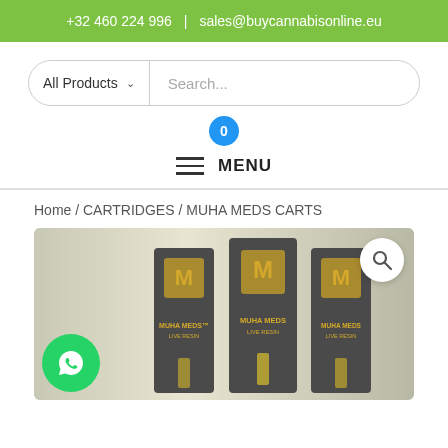+32 460 224 996 | sales@buycannabisonline.eu
[Figure (screenshot): Search bar with 'All Products' dropdown and search input field]
[Figure (other): Cart bubble with number 0]
≡ MENU
Home / CARTRIDGES / MUHA MEDS CARTS
[Figure (photo): Three Muha Meds Live Resin cartridge boxes displayed with a WhatsApp button overlay and magnify button]